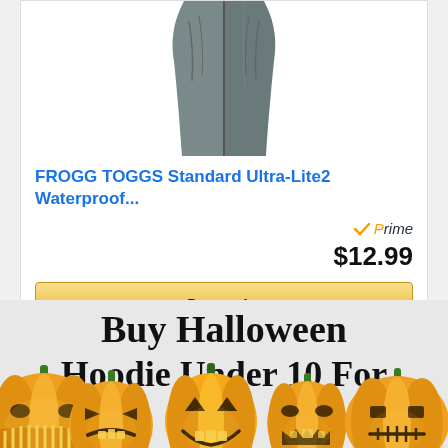[Figure (screenshot): Product card showing FROGG TOGGS jacket image (grey rain jacket, partial view from top), product title in blue, Amazon Prime badge, price $12.99, and gold Buy on Amazon button with Amazon logo.]
Buy Halloween Hoodie Under 10 For
[Figure (illustration): Row of five Halloween jack-o-lantern pumpkins with carved glowing faces, orange color with green stems, overlapping the title text from below.]